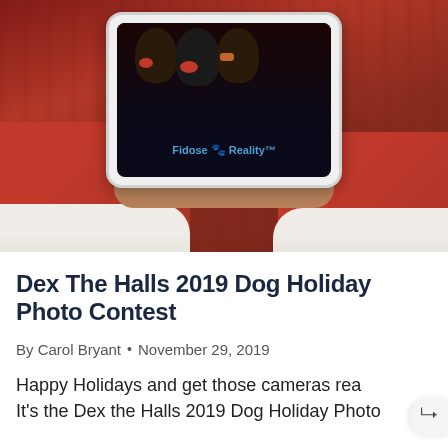[Figure (photo): Person wearing a Santa Claus costume (red with white cuffs) holding a tablet showing dogs dressed in holiday costumes with 'Fidose of Reality' branding on a wooden table background]
Dex The Halls 2019 Dog Holiday Photo Contest
By Carol Bryant • November 29, 2019
Happy Holidays and get those cameras rea It's the Dex the Halls 2019 Dog Holiday Photo